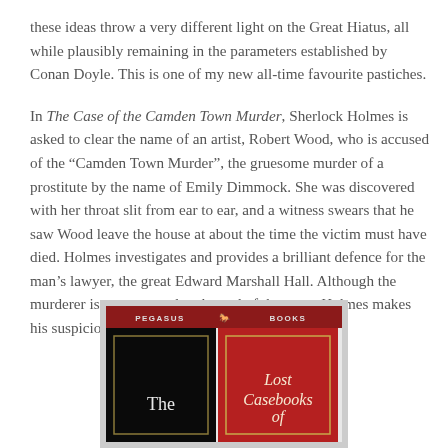these ideas throw a very different light on the Great Hiatus, all while plausibly remaining in the parameters established by Conan Doyle. This is one of my new all-time favourite pastiches.
In The Case of the Camden Town Murder, Sherlock Holmes is asked to clear the name of an artist, Robert Wood, who is accused of the "Camden Town Murder", the gruesome murder of a prostitute by the name of Emily Dimmock. She was discovered with her throat slit from ear to ear, and a witness swears that he saw Wood leave the house at about the time the victim must have died. Holmes investigates and provides a brilliant defence for the man's lawyer, the great Edward Marshall Hall. Although the murderer is not captured at the end of the story, Holmes makes his suspicions quite clear.
[Figure (photo): Book cover of 'The Lost Casebooks of...' published by Pegasus Books. The cover is split into two panels: left panel is black with white text reading 'The', right panel is red with cream italic text reading 'Lost Casebooks of'. The top banner is dark red with 'PEGASUS BOOKS' and a winged horse logo.]